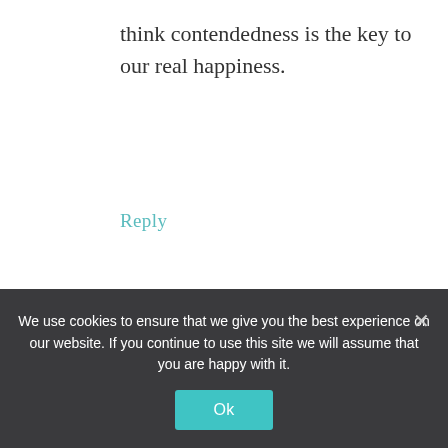think contendedness is the key to our real happiness.
Reply
[Figure (photo): Profile photo of Lynnette Bonner, a woman with blonde hair wearing a red top, photographed outdoors.]
LYNNETTE BONNER
says
MAY 14, 2013 AT 7:00 PM
We use cookies to ensure that we give you the best experience on our website. If you continue to use this site we will assume that you are happy with it.